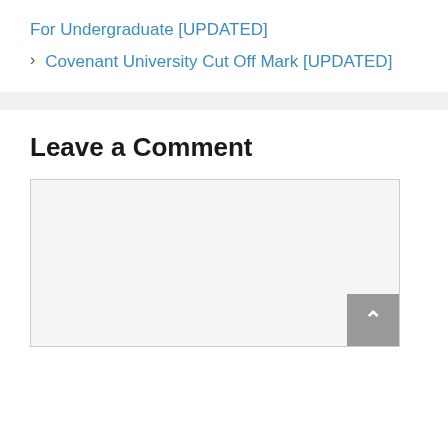For Undergraduate [UPDATED]
Covenant University Cut Off Mark [UPDATED]
Leave a Comment
[Figure (other): Comment text area input box with scroll-to-top button in bottom right corner]